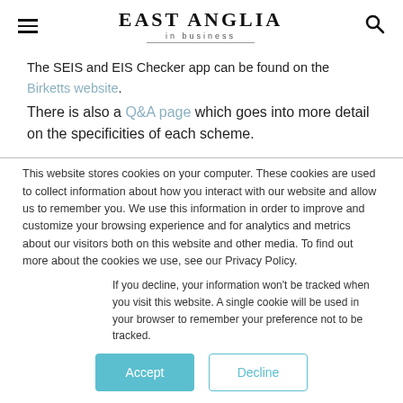EAST ANGLIA in business
The SEIS and EIS Checker app can be found on the Birketts website.
There is also a Q&A page which goes into more detail on the specificities of each scheme.
This website stores cookies on your computer. These cookies are used to collect information about how you interact with our website and allow us to remember you. We use this information in order to improve and customize your browsing experience and for analytics and metrics about our visitors both on this website and other media. To find out more about the cookies we use, see our Privacy Policy.
If you decline, your information won't be tracked when you visit this website. A single cookie will be used in your browser to remember your preference not to be tracked.
Accept  Decline